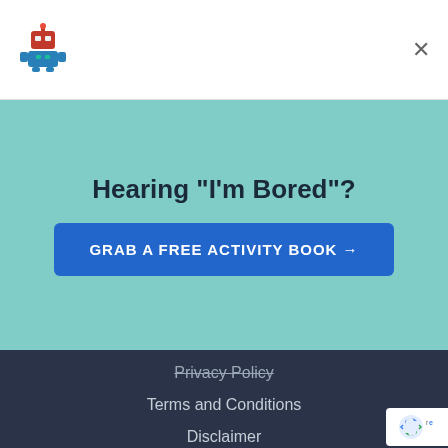[Figure (logo): Robot mascot logo icon in top left corner]
×
Hearing "I'm Bored"?
GRAB A FREE ACTIVITY BOOK →
Privacy Policy
Terms and Conditions
Disclaimer
CATEGORIES
Board Games
STEM Education
STEM Toys by Age
[Figure (logo): Partial reCAPTCHA badge visible at bottom right corner]